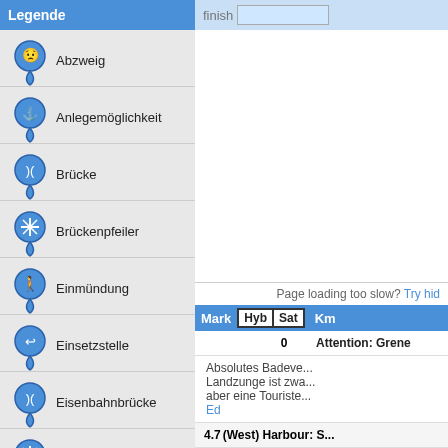Legende
Abzweig
Anlegemöglichkeit
Brücke
Brückenpfeiler
Einmündung
Einsetzstelle
Eisenbahnbrücke
Fahrwassermarkierung
Freie Fähre
Fußgängerbrücke
Gaststätte
finish
Page loading too slow? Try hid...
| Mark | Hyb | Sat | Km |  |
| --- | --- | --- | --- |
|  | 0 | Attention: Grene... |
|  |  | Absolutes Badeve... Landzunge ist zwa... aber eine Touriste...
[Edit] |
|  | 4.7 | (West) Harbour: S... |